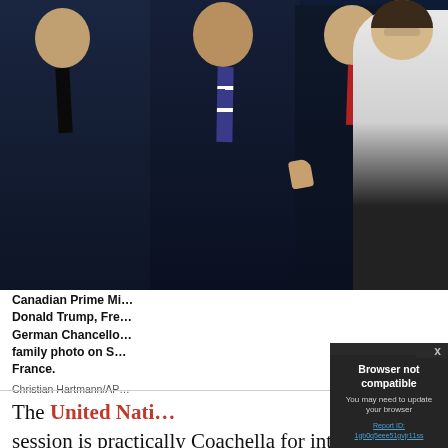[Figure (photo): Group photo of world leaders including Canadian Prime Minister, Donald Trump, French President, German Chancellor and others posing for a family photo at a summit in France.]
Canadian Prime Mi... Donald Trump, Fre... German Chancello... family photo on S... France.
Christian Hartmann/AP...
The United Nati... session is practically Coachella for international diplomacy. Every September, heads of state,
[Figure (screenshot): Browser not compatible dialog box overlaying the page. Shows title 'Browser not compatible', subtitle 'You may need to update your browser', and a link 'Report ID: 1gb0q5eee51gvjr11ss'. Has an X close button in top right.]